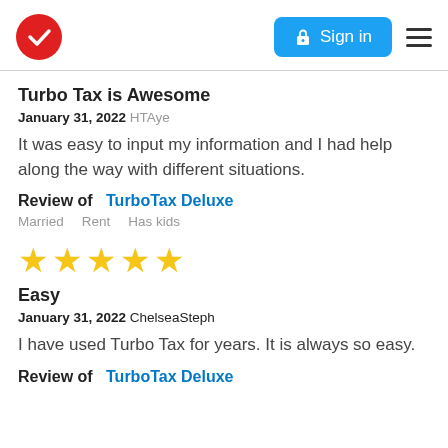[Figure (logo): TurboTax red circle checkmark logo with Sign in button and hamburger menu]
Turbo Tax is Awesome
January 31, 2022 HTAye
It was easy to input my information and I had help along the way with different situations.
Review of   TurboTax Deluxe
Married   Rent   Has kids
[Figure (other): Five yellow star rating]
Easy
January 31, 2022 ChelseaSteph
I have used Turbo Tax for years. It is always so easy.
Review of   TurboTax Deluxe